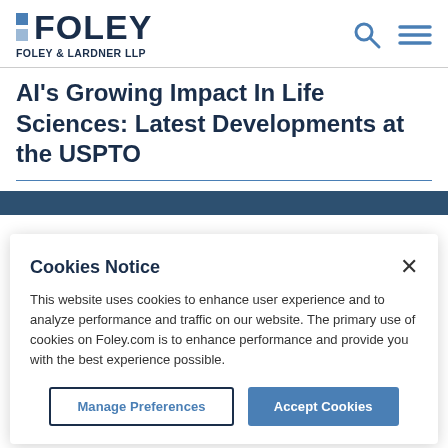FOLEY | FOLEY & LARDNER LLP
AI's Growing Impact In Life Sciences: Latest Developments at the USPTO
Cookies Notice
This website uses cookies to enhance user experience and to analyze performance and traffic on our website. The primary use of cookies on Foley.com is to enhance performance and provide you with the best experience possible.
Manage Preferences | Accept Cookies